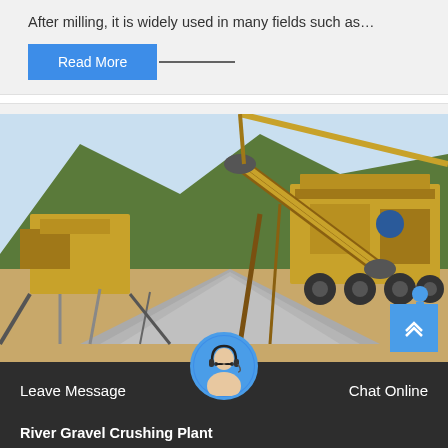After milling, it is widely used in many fields such as…
Read More →
[Figure (photo): Outdoor gravel crushing plant with yellow heavy machinery, conveyor belt, and a large pile of crushed stone/gravel in foreground, rocky hill in background]
Leave Message   Chat Online
River Gravel Crushing Plant